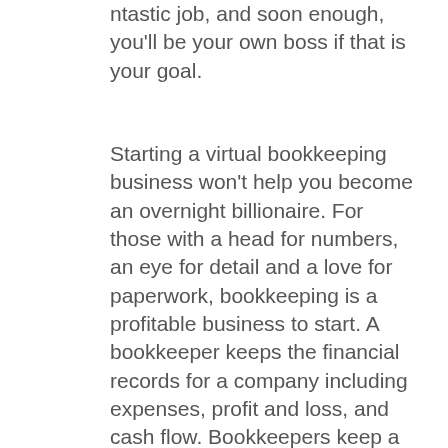ntastic job, and soon enough, you'll be your own boss if that is your goal.
Starting a virtual bookkeeping business won't help you become an overnight billionaire. For those with a head for numbers, an eye for detail and a love for paperwork, bookkeeping is a profitable business to start. A bookkeeper keeps the financial records for a company including expenses, profit and loss, and cash flow. Bookkeepers keep a computerized ledger detailing the company's transactions.
There wasn't even any training or even a certification around the program. Luckily, my first client pushed me to QuickBooks Online and that has been my platform for my bookkeeping business ever since. A bookkeeping business consists of tracking income and expenses, processing payroll, and possibly preparing tax returns for their clients...